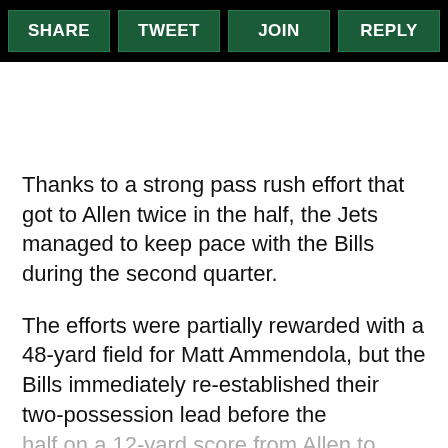SHARE | TWEET | JOIN | REPLY
Thanks to a strong pass rush effort that got to Allen twice in the half, the Jets managed to keep pace with the Bills during the second quarter.
The efforts were partially rewarded with a 48-yard field for Matt Ammendola, but the Bills immediately re-established their two-possession lead before the half on a 12-yard score from Allen to Stefon Diggs.